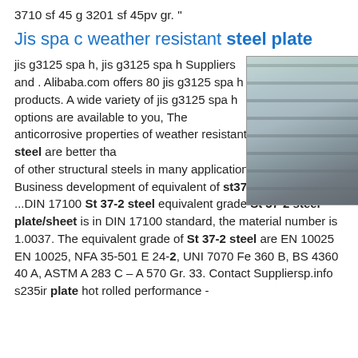3710 sf 45 g 3201 sf 45pv gr. "
Jis spa c weather resistant steel plate
jis g3125 spa h, jis g3125 spa h Suppliers and . Alibaba.com offers 80 jis g3125 spa h products. A wide variety of jis g3125 spa h options are available to you, The anticorrosive properties of weather resistant steel are better than of other structural steels in many applications.sp.info Business development of equivalent of st37 din number ...DIN 17100 St 37-2 steel equivalent grade St 37-2 steel plate/sheet is in DIN 17100 standard, the material number is 1.0037. The equivalent grade of St 37-2 steel are EN 10025 EN 10025, NFA 35-501 E 24-2, UNI 7070 Fe 360 B, BS 4360 40 A, ASTM A 283 C – A 570 Gr. 33. Contact Suppliersp.info s235ir plate hot rolled performance -
[Figure (photo): Photo of steel plates stacked in an industrial warehouse setting, showing silvery metallic surfaces with a green structure visible in the background.]